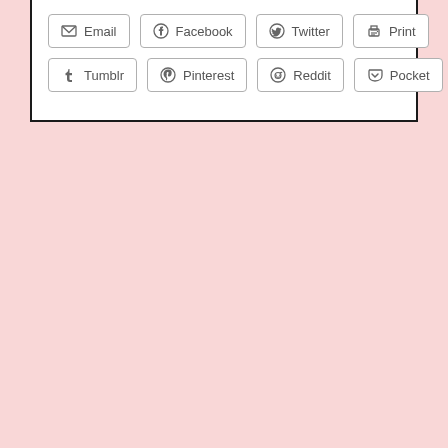[Figure (screenshot): A set of social sharing buttons arranged in two rows: Row 1: Email, Facebook, Twitter, Print. Row 2: Tumblr, Pinterest, Reddit, Pocket. Each button has an icon and label, white background with grey border, on a pink page background.]